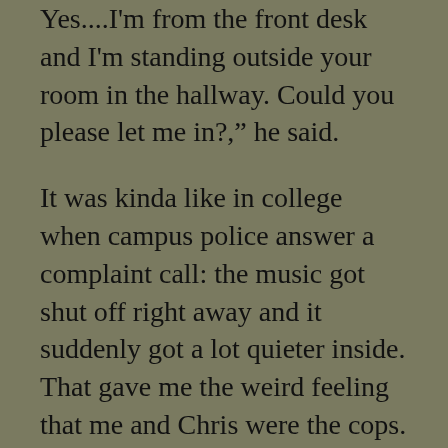Yes....I'm from the front desk and I'm standing outside your room in the hallway. Could you please let me in?," he said.
It was kinda like in college when campus police answer a complaint call: the music got shut off right away and it suddenly got a lot quieter inside. That gave me the weird feeling that me and Chris were the cops.
A man came to the door. He had his sleeves rolled up and his tie loosened. He looked like that wasn't his first drink in the glass he was carrying.
“Yes?,” he asked. He seemed polite enough.
“May we come in?” Chris asked.